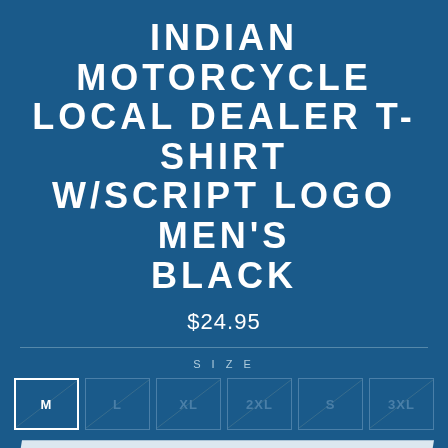INDIAN MOTORCYCLE LOCAL DEALER T-SHIRT W/SCRIPT LOGO MEN'S BLACK
$24.95
SIZE
M L XL 2XL S 3XL
SOLD OUT
Pay in 4 interest-free installments for orders over $50 with Shop Pay
Learn more